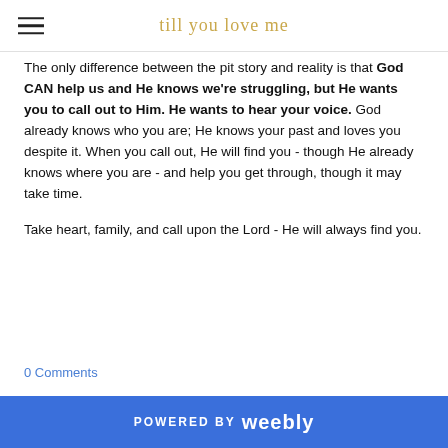till you love me
The only difference between the pit story and reality is that God CAN help us and He knows we're struggling, but He wants you to call out to Him. He wants to hear your voice. God already knows who you are; He knows your past and loves you despite it. When you call out, He will find you - though He already knows where you are - and help you get through, though it may take time.

Take heart, family, and call upon the Lord - He will always find you.
0 Comments
POWERED BY weebly